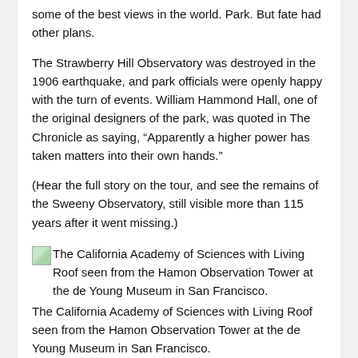some of the best views in the world. Park. But fate had other plans.
The Strawberry Hill Observatory was destroyed in the 1906 earthquake, and park officials were openly happy with the turn of events. William Hammond Hall, one of the original designers of the park, was quoted in The Chronicle as saying, “Apparently a higher power has taken matters into their own hands.”
(Hear the full story on the tour, and see the remains of the Sweeny Observatory, still visible more than 115 years after it went missing.)
[Figure (photo): Broken image icon for The California Academy of Sciences with Living Roof seen from the Hamon Observation Tower at the de Young Museum in San Francisco.]
The California Academy of Sciences with Living Roof seen from the Hamon Observation Tower at the de Young Museum in San Francisco.
Santiago Mejia / The Chronicle